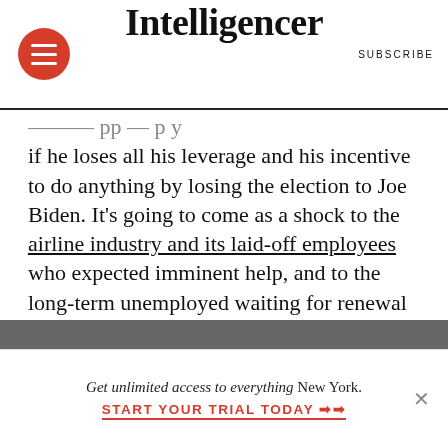Intelligencer | SUBSCRIBE
if he loses all his leverage and his incentive to do anything by losing the election to Joe Biden. It's going to come as a shock to the airline industry and its laid-off employees who expected imminent help, and to the long-term unemployed waiting for renewal of federal subsidies that expired in August. And it will be a bitter disappointment to the many millions of Americans hoping to receive another $1,200 stimulus check.
Get unlimited access to everything New York. START YOUR TRIAL TODAY ➡➡